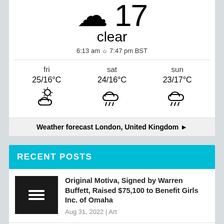[Figure (infographic): Weather widget showing current conditions: clear, 6:13 am sunrise 7:47 pm BST. 3-day forecast: fri 25/16°C partly cloudy, sat 24/16°C rain, sun 23/17°C rain.]
clear
6:13 am ☼ 7:47 pm BST
fri 25/16°C | sat 24/16°C | sun 23/17°C
Weather forecast London, United Kingdom ►
RECENT POSTS
Original Motiva, Signed by Warren Buffett, Raised $75,100 to Benefit Girls Inc. of Omaha
Aug 31, 2022 | Art
SugarDaddyMeet Helps Members to Solve Conversation Opening Line
Aug 31, 2022 | Lifestyle